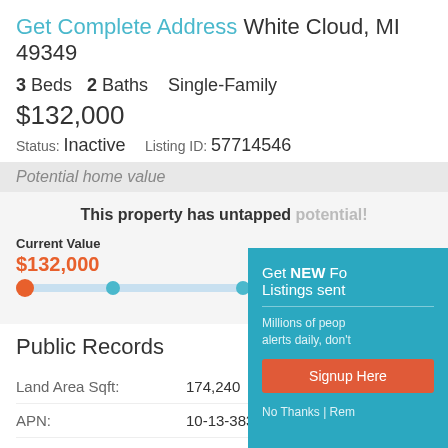Get Complete Address White Cloud, MI 49349
3 Beds  2 Baths  Single-Family
$132,000
Status: Inactive   Listing ID: 57714546
Potential home value
This property has untapped potential!
Current Value
$132,000
Public Records
Land Area Sqft: 174,240
APN: 10-13-383-040
Property Type: Single Family Residence
Township: LINCOLN TOWNSHIP
Get NEW Fo
Listings sent
Millions of peop
alerts daily, don't
Signup Here
No Thanks | Rem